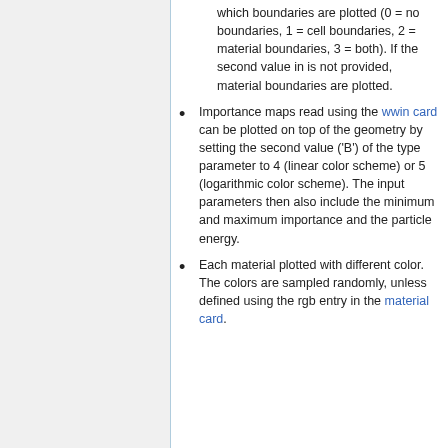which boundaries are plotted (0 = no boundaries, 1 = cell boundaries, 2 = material boundaries, 3 = both). If the second value in is not provided, material boundaries are plotted.
Importance maps read using the wwin card can be plotted on top of the geometry by setting the second value ('B') of the type parameter to 4 (linear color scheme) or 5 (logarithmic color scheme). The input parameters then also include the minimum and maximum importance and the particle energy.
Each material plotted with different color. The colors are sampled randomly, unless defined using the rgb entry in the material card.